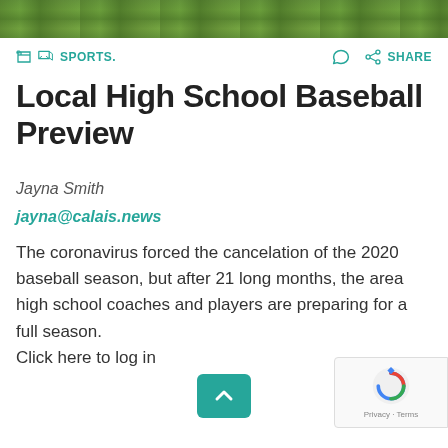[Figure (photo): Green grass baseball field photo banner at top of article]
SPORTS.
Local High School Baseball Preview
Jayna Smith
jayna@calais.news
The coronavirus forced the cancelation of the 2020 baseball season, but after 21 long months, the area high school coaches and players are preparing for a full season. Click here to log in